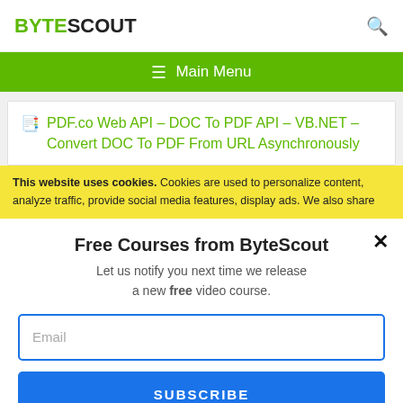BYTESCOUT
≡ Main Menu
PDF.co Web API – DOC To PDF API – VB.NET – Convert DOC To PDF From URL Asynchronously
This website uses cookies. Cookies are used to personalize content, analyze traffic, provide social media features, display ads. We also share
Free Courses from ByteScout
Let us notify you next time we release a new free video course.
Email
SUBSCRIBE